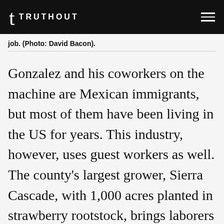TRUTHOUT
job. (Photo: David Bacon).
Gonzalez and his coworkers on the machine are Mexican immigrants, but most of them have been living in the US for years. This industry, however, uses guest workers as well. The county's largest grower, Sierra Cascade, with 1,000 acres planted in strawberry rootstock, brings laborers to Modoc directly from Mexico, using the H2A contract labor program. In 2006,